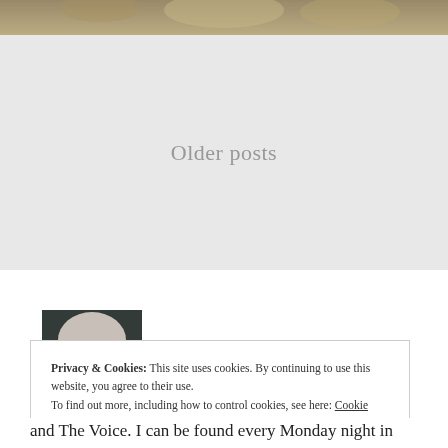[Figure (photo): Top banner image showing a person in a field or outdoor setting with warm golden tones]
Older posts
[Figure (photo): Profile photo of a middle-aged woman with gray hair and black glasses, looking upward, teal/blue background]
Privacy & Cookies: This site uses cookies. By continuing to use this website, you agree to their use.
To find out more, including how to control cookies, see here: Cookie Policy
Close and accept
and The Voice. I can be found every Monday night in my